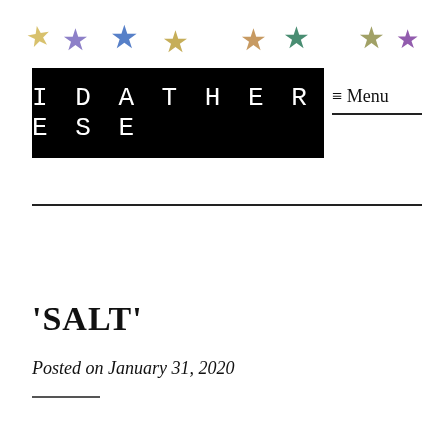[Figure (illustration): Row of colorful glitter stars decorating the top of the page in various colors: gold, blue, dark gold, olive, red, teal, dark green, purple]
[Figure (logo): IDATHERESE logo in white monospace uppercase letters on black rectangular background]
≡ Menu
'SALT'
Posted on January 31, 2020